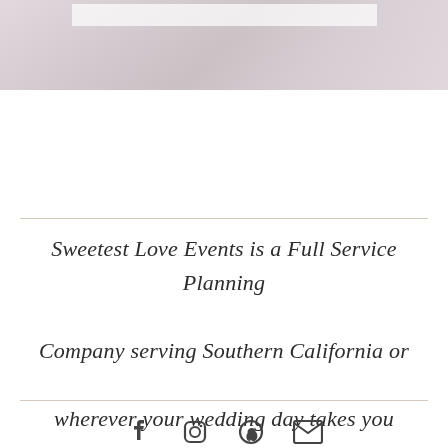[Figure (photo): Faded floral/wedding photo at the top of the page with soft pink and grey tones, partially obscured by a white rectangle overlay]
Sweetest Love Events is a Full Service Planning Company serving Southern California or wherever your wedding day takes you
[Figure (infographic): Social media icons row: Facebook, Instagram, Pinterest, Email/envelope icons in dark grey]